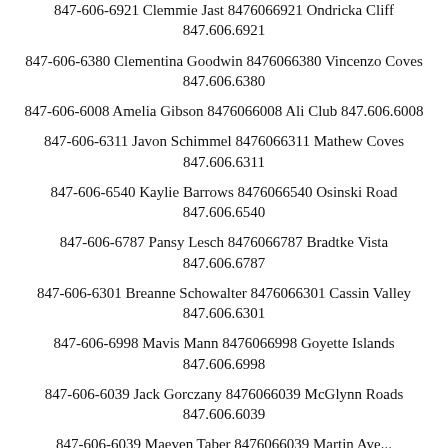847-606-6921 Clemmie Jast 8476066921 Ondricka Cliff 847.606.6921
847-606-6380 Clementina Goodwin 8476066380 Vincenzo Coves 847.606.6380
847-606-6008 Amelia Gibson 8476066008 Ali Club 847.606.6008
847-606-6311 Javon Schimmel 8476066311 Mathew Coves 847.606.6311
847-606-6540 Kaylie Barrows 8476066540 Osinski Road 847.606.6540
847-606-6787 Pansy Lesch 8476066787 Bradtke Vista 847.606.6787
847-606-6301 Breanne Schowalter 8476066301 Cassin Valley 847.606.6301
847-606-6998 Mavis Mann 8476066998 Goyette Islands 847.606.6998
847-606-6039 Jack Gorczany 8476066039 McGlynn Roads 847.606.6039
847-606-6039 Maeven Taber 8476066039 Martin Ave...